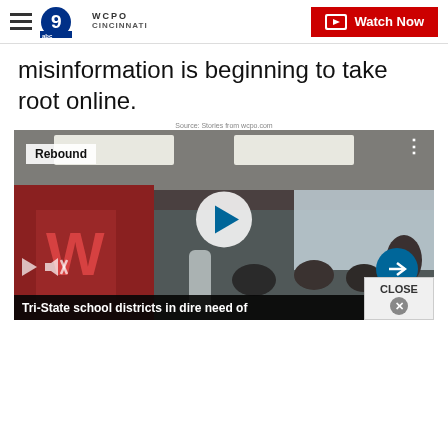WCPO 9 Cincinnati — Watch Now
misinformation is beginning to take root online.
Source: Stories from wcpo.com
[Figure (screenshot): Video thumbnail showing a classroom scene with students at desks. Overlay elements include a 'Rebound' tag in the top-left, a play button in the center, mute and mini-play icons at the bottom-left, and a blue arrow navigation button at the bottom-right. A caption at the bottom reads 'Tri-State school districts in dire need of...' with a CLOSE button overlay.]